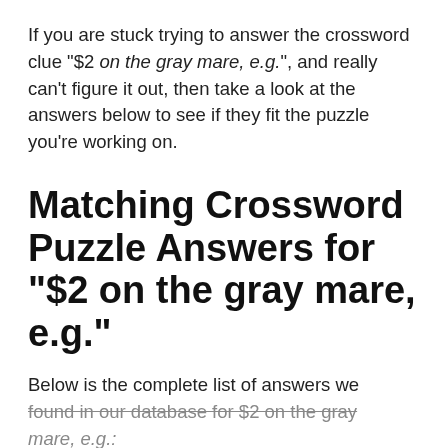If you are stuck trying to answer the crossword clue "$2 on the gray mare, e.g.", and really can't figure it out, then take a look at the answers below to see if they fit the puzzle you're working on.
Matching Crossword Puzzle Answers for "$2 on the gray mare, e.g."
Below is the complete list of answers we found in our database for $2 on the gray mare, e.g.: